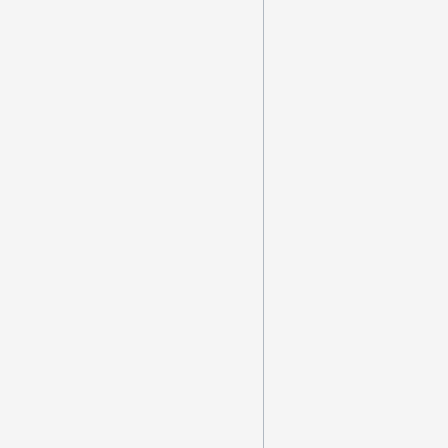and comedian, original member of The Three Stooges
· October 5 - Ray Kroc, American founder of